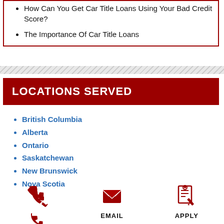How Can You Get Car Title Loans Using Your Bad Credit Score?
The Importance Of Car Title Loans
LOCATIONS SERVED
British Columbia
Alberta
Ontario
Saskatchewan
New Brunswick
Nova Scotia
[Figure (infographic): Three icon buttons: a red phone icon labeled PHONE, a red envelope icon labeled EMAIL, and a red application/clipboard icon labeled APPLY]